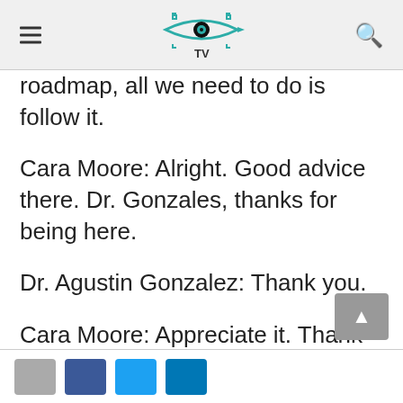Optometry TV
roadmap, all we need to do is follow it.
Cara Moore: Alright. Good advice there. Dr. Gonzales, thanks for being here.
Dr. Agustin Gonzalez: Thank you.
Cara Moore: Appreciate it. Thank you all for watching Optometry TV.
Social share buttons and scroll-to-top button